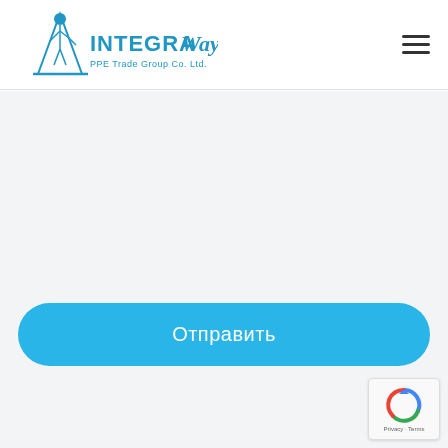[Figure (logo): IntegraWay PPE Trade Group Co. Ltd. logo with figure in blue]
[Figure (other): Hamburger menu icon (three horizontal lines) top right]
[Figure (other): Gray main content area with form fields (empty)]
Отправить
[Figure (other): reCAPTCHA badge with Privacy - Terms text]